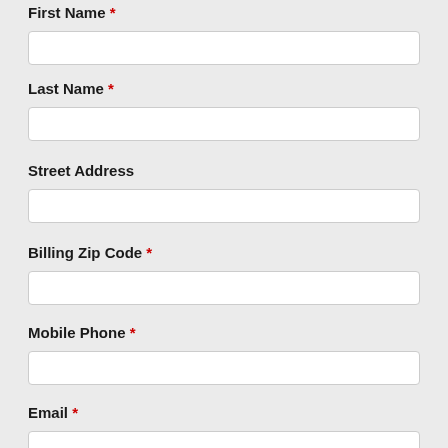First Name *
Last Name *
Street Address
Billing Zip Code *
Mobile Phone *
Email *